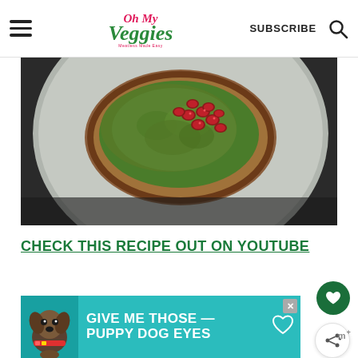Oh My Veggies — SUBSCRIBE
[Figure (photo): Overhead view of toast topped with green pea or avocado spread and pomegranate seeds, served on a round stone/ceramic plate, dark background]
CHECK THIS RECIPE OUT ON YOUTUBE
[Figure (infographic): Advertisement banner: teal background with dog photo on left, text 'GIVE ME THOSE PUPPY DOG EYES' in white bold uppercase, heart icon, close button top right]